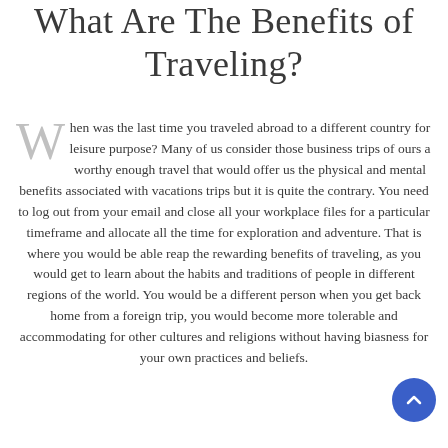What Are The Benefits of Traveling?
When was the last time you traveled abroad to a different country for leisure purpose? Many of us consider those business trips of ours a worthy enough travel that would offer us the physical and mental benefits associated with vacations trips but it is quite the contrary. You need to log out from your email and close all your workplace files for a particular timeframe and allocate all the time for exploration and adventure. That is where you would be able reap the rewarding benefits of traveling, as you would get to learn about the habits and traditions of people in different regions of the world. You would be a different person when you get back home from a foreign trip, you would become more tolerable and accommodating for other cultures and religions without having biasness for your own practices and beliefs.